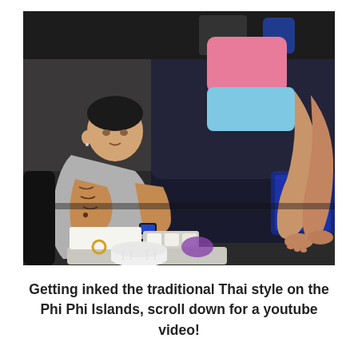[Figure (photo): A tattooed male artist giving a tattoo to a woman lying on a black padded table in a tattoo parlor. The artist is wearing a grey t-shirt, black watch, and gloves. Tattoo supplies and a roll of paper towels are visible on a tray in the foreground. Text on the artist's shorts reads 'MENG WA'.]
Getting inked the traditional Thai style on the Phi Phi Islands, scroll down for a youtube video!